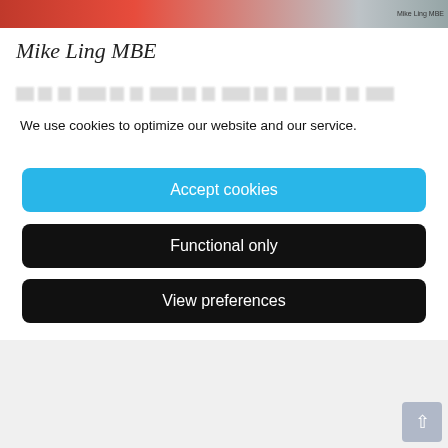[Figure (photo): Partial photo of Mike Ling MBE wearing red, with grey background on the right side. Caption reads 'Mike Ling MBE'.]
Mike Ling MBE
[blurred/truncated text line]
We use cookies to optimize our website and our service.
Accept cookies
Functional only
View preferences
Mike's highly anticipated presentation, which follows a fascinating curtain-raiser to the series by world-class conductor Anthony Inglis in November, entitled Heroes and Poppy 19…